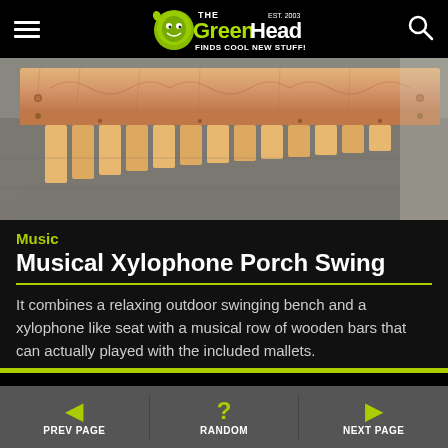The Green Head - Finds Cool New Stuff!
[Figure (photo): Close-up photo of a wooden xylophone porch swing, showing the wooden bars and frame on a floor background]
Music
Musical Xylophone Porch Swing
It combines a relaxing outdoor swinging bench and a xylophone like seat with a musical row of wooden bars that can actually played with the included mallets.
PREV PAGE | RANDOM | NEXT PAGE